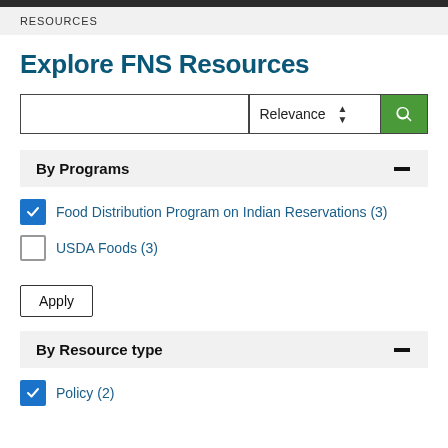RESOURCES
Explore FNS Resources
By Programs
Food Distribution Program on Indian Reservations (3)
USDA Foods (3)
Apply
By Resource type
Policy (2)